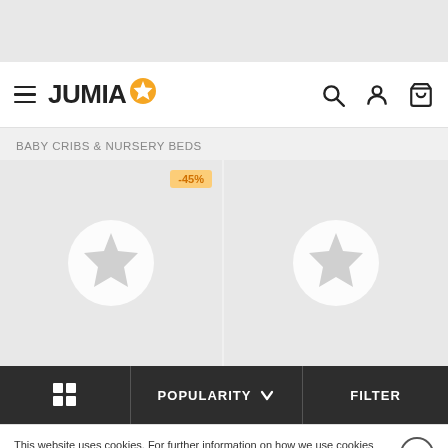[Figure (screenshot): Jumia e-commerce website screenshot showing header with logo, hamburger menu, search/account/cart icons, baby cribs category page with two product placeholder cards (one showing -45% discount badge), a bottom toolbar with grid view, Popularity sort, and Filter options, and a cookie consent banner.]
JUMIA
BABY CRIBS & NURSERY BEDS
-45%
POPULARITY   FILTER
This website uses cookies. For further information on how we use cookies you can read our Privacy and Cookie notice